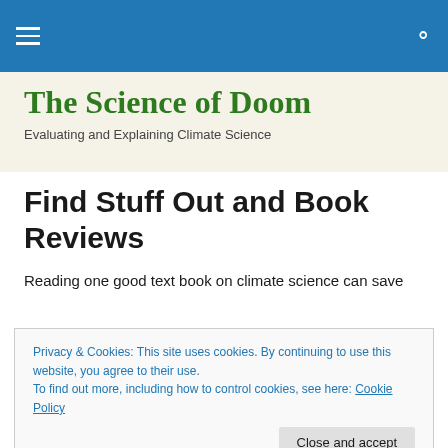≡  🔍
The Science of Doom
Evaluating and Explaining Climate Science
Find Stuff Out and Book Reviews
Reading one good text book on climate science can save
Privacy & Cookies: This site uses cookies. By continuing to use this website, you agree to their use.
To find out more, including how to control cookies, see here: Cookie Policy
[Close and accept]
Text books cost money. But depending on which country